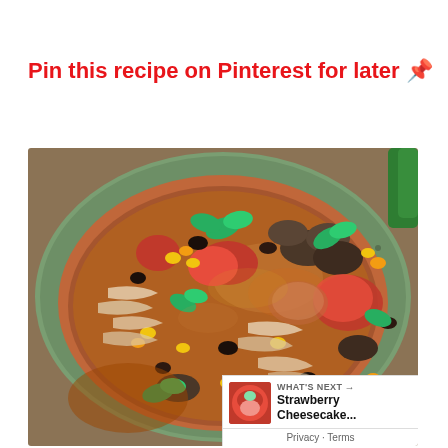Pin this recipe on Pinterest for later 📌
[Figure (photo): A bowl of chicken tortilla soup with corn, black beans, shredded chicken, mushrooms, tomatoes and fresh cilantro garnish, viewed from above in a terracotta bowl]
WHAT'S NEXT → Strawberry Cheesecake...
Privacy · Terms